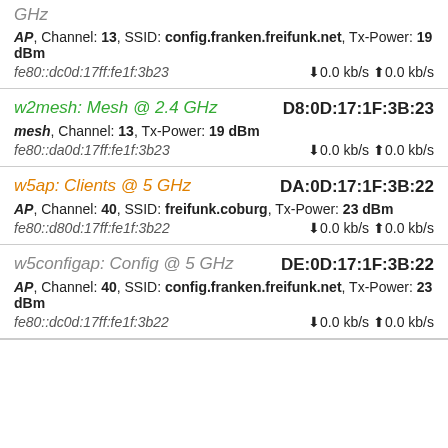GHz | AP, Channel: 13, SSID: config.franken.freifunk.net, Tx-Power: 19 dBm | fe80::dc0d:17ff:fe1f:3b23 | ↓0.0 kb/s ↑0.0 kb/s
w2mesh: Mesh @ 2.4 GHz | D8:0D:17:1F:3B:23 | mesh, Channel: 13, Tx-Power: 19 dBm | fe80::da0d:17ff:fe1f:3b23 | ↓0.0 kb/s ↑0.0 kb/s
w5ap: Clients @ 5 GHz | DA:0D:17:1F:3B:22 | AP, Channel: 40, SSID: freifunk.coburg, Tx-Power: 23 dBm | fe80::d80d:17ff:fe1f:3b22 | ↓0.0 kb/s ↑0.0 kb/s
w5configap: Config @ 5 GHz | DE:0D:17:1F:3B:22 | AP, Channel: 40, SSID: config.franken.freifunk.net, Tx-Power: 23 dBm | fe80::dc0d:17ff:fe1f:3b22 | ↓0.0 kb/s ↑0.0 kb/s